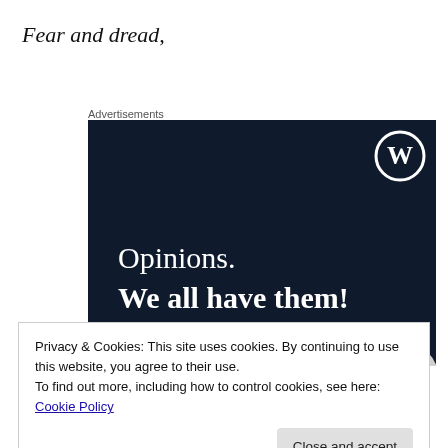Fear and dread,
Advertisements
[Figure (illustration): WordPress advertisement banner on dark navy background. WordPress logo (W in circle) in top right. Text reads 'Opinions. We all have them!' in white serif font. Pink button bar at bottom left and grey circle at bottom right.]
Privacy & Cookies: This site uses cookies. By continuing to use this website, you agree to their use.
To find out more, including how to control cookies, see here: Cookie Policy
Close and accept